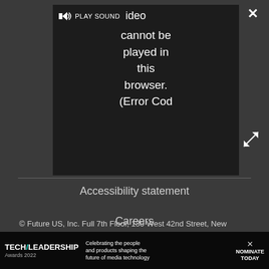[Figure (screenshot): Video player showing error message: 'Video cannot be played in this browser. (Error Cod' with PLAY SOUND button and speaker icon]
Accessibility statement
Careers
Contact us
Advertise
Do not sell my info
© Future US, Inc. Full 7th Floor, 130 West 42nd Street, New
[Figure (screenshot): Tech Leadership Awards 2022 advertisement banner: 'Celebrating the people and products shaping the future of media technology' with NOMINATE TODAY call to action]